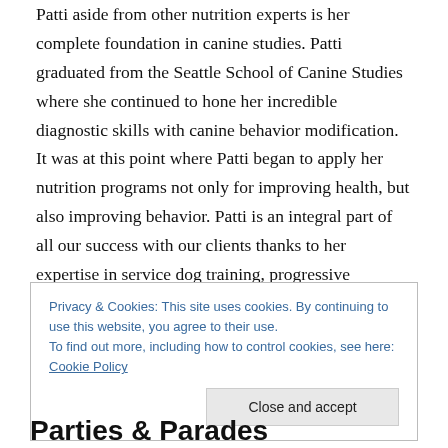Patti aside from other nutrition experts is her complete foundation in canine studies. Patti graduated from the Seattle School of Canine Studies where she continued to hone her incredible diagnostic skills with canine behavior modification. It was at this point where Patti began to apply her nutrition programs not only for improving health, but also improving behavior. Patti is an integral part of all our success with our clients thanks to her expertise in service dog training, progressive behavior modification, and nutrition. She is an inspirational student of science, a born teacher, and her passion for dogs is unparalleled.
Privacy & Cookies: This site uses cookies. By continuing to use this website, you agree to their use. To find out more, including how to control cookies, see here: Cookie Policy
Parties & Parades